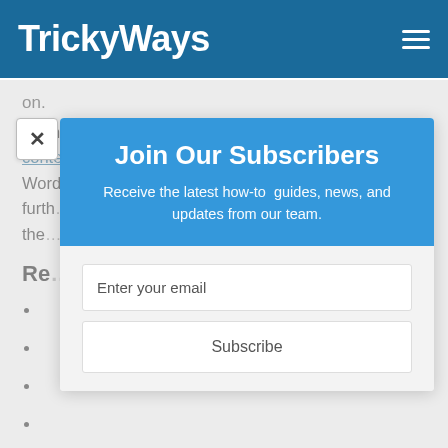TrickyWays
on.
We hope now it will be easy for you to create table of contents and table of figures automatically for your Word 2007 or 2010 documents, so if you have any further questions or suggestions, please leave them in the comments at the bottom of this page.
Re...
Join Our Subscribers
Receive the latest how-to guides, news, and updates from our team.
Enter your email
Subscribe